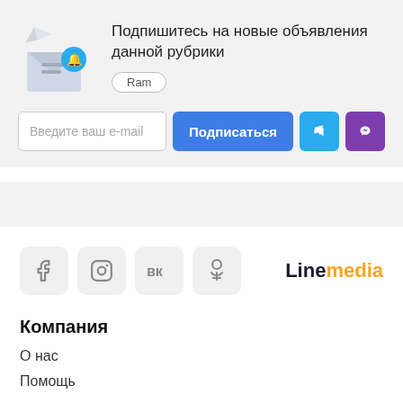Подпишитесь на новые объявления данной рубрики
Ram
Введите ваш e-mail
Подписаться
[Figure (logo): Linemedia logo with Line in dark and media in orange]
Компания
О нас
Помощь